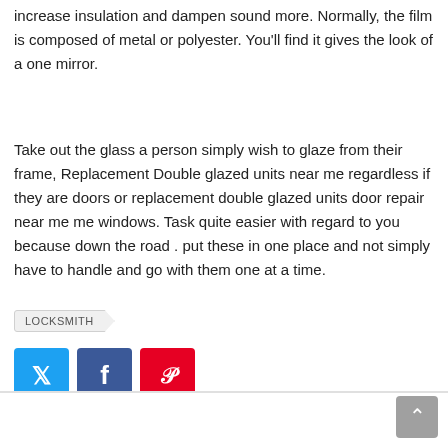increase insulation and dampen sound more. Normally, the film is composed of metal or polyester. You'll find it gives the look of a one mirror.
Take out the glass a person simply wish to glaze from their frame, Replacement Double glazed units near me regardless if they are doors or replacement double glazed units door repair near me me windows. Task quite easier with regard to you because down the road . put these in one place and not simply have to handle and go with them one at a time.
LOCKSMITH
[Figure (other): Three social media share buttons: Twitter (blue), Facebook (dark blue), Pinterest (red)]